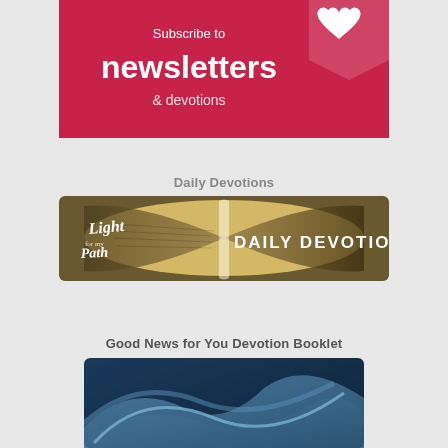[Figure (illustration): Pink/crimson rounded banner at top with white heart icon, text 'Subscribe to newsletters & devotions']
Daily Devotions
[Figure (photo): Banner image showing an open Bible with text overlay: 'Light for my Path DAILY DEVOTIONS']
Good News for You Devotion Booklet
[Figure (illustration): Partial view of blue abstract book cover illustration for Good News for You Devotion Booklet]